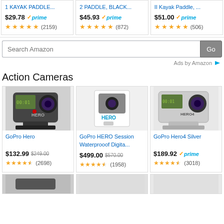[Figure (screenshot): Amazon product listing page showing kayak paddle products at top, a search bar, and a grid of GoPro action cameras.]
1 KAYAK PADDLE... $29.78 prime ★★★★½ (2159)
2 PADDLE, BLACK... $45.93 prime ★★★★★ (872)
II Kayak Paddle, ... $51.00 prime ★★★★★ (506)
Search Amazon
Ads by Amazon
Action Cameras
GoPro Hero
$132.99 $249.00
★★★★½ (2698)
GoPro HERO Session Waterprooof Digita...
$499.00 $570.00
★★★★½ (1958)
GoPro Hero4 Silver
$189.92 prime
★★★★½ (3018)